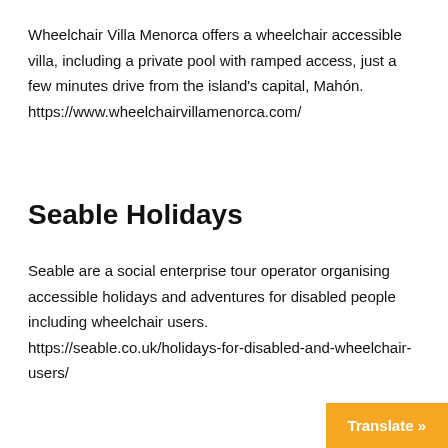Wheelchair Villa Menorca offers a wheelchair accessible villa, including a private pool with ramped access, just a few minutes drive from the island's capital, Mahón. https://www.wheelchairvillamenorca.com/
Seable Holidays
Seable are a social enterprise tour operator organising accessible holidays and adventures for disabled people including wheelchair users. https://seable.co.uk/holidays-for-disabled-and-wheelchair-users/